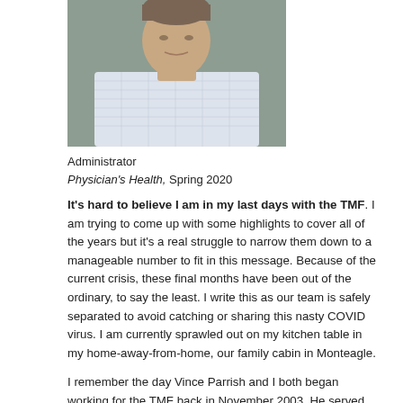[Figure (photo): Portrait photo of a man wearing a light blue/white checked dress shirt, cropped at the shoulders/chest level]
Administrator
Physician's Health, Spring 2020
It's hard to believe I am in my last days with the TMF. I am trying to come up with some highlights to cover all of the years but it's a real struggle to narrow them down to a manageable number to fit in this message. Because of the current crisis, these final months have been out of the ordinary, to say the least. I write this as our team is safely separated to avoid catching or sharing this nasty COVID virus. I am currently sprawled out on my kitchen table in my home-away-from-home, our family cabin in Monteagle.
I remember the day Vince Parrish and I both began working for the TMF back in November 2003. He served as a case manager and then Development director